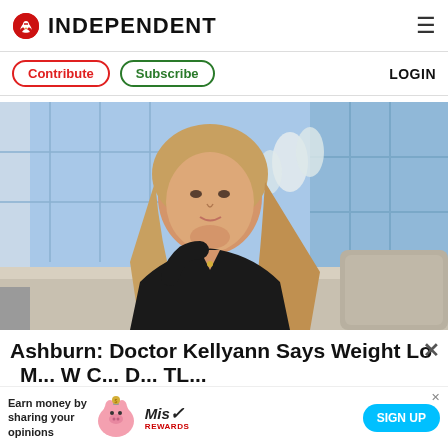INDEPENDENT
Contribute  Subscribe  LOGIN
[Figure (photo): Woman with blonde hair sitting on a sofa in a TV studio setting, wearing a black top, with blue windowed backdrop and white floral decor]
Ashburn: Doctor Kellyann Says Weight Lo×
Earn money by sharing your opinions  [Ad banner with pig mascot, Mis Rewards branding, SIGN UP button]